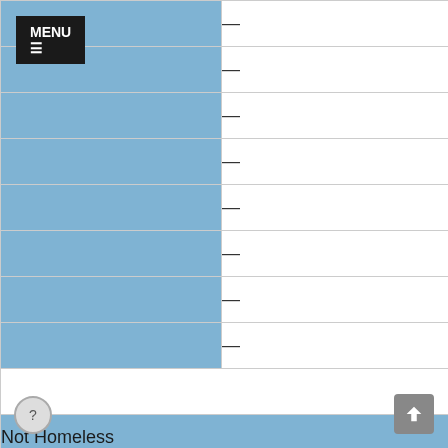| Category | Value |
| --- | --- |
|  | — |
|  | — |
|  | — |
|  | — |
|  | — |
|  | — |
|  | — |
|  | — |
|  | — |
| Not Homeless |  |
|  | 17 |
|  | — |